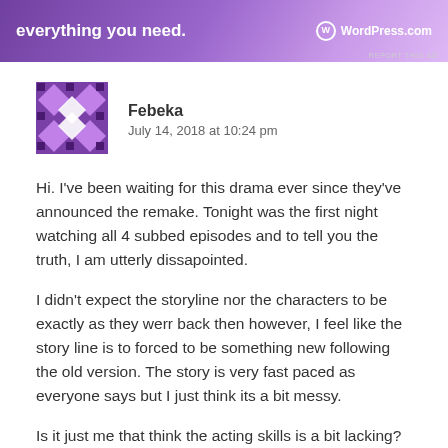[Figure (other): WordPress.com advertisement banner with gradient purple background, text 'everything you need.' and WordPress.com logo]
Febeka
July 14, 2018 at 10:24 pm
Hi. I've been waiting for this drama ever since they've announced the remake. Tonight was the first night watching all 4 subbed episodes and to tell you the truth, I am utterly dissapointed.
I didn't expect the storyline nor the characters to be exactly as they werr back then however, I feel like the story line is to forced to be something new following the old version. The story is very fast paced as everyone says but I just think its a bit messy.
Is it just me that think the acting skills is a bit lacking? Not to